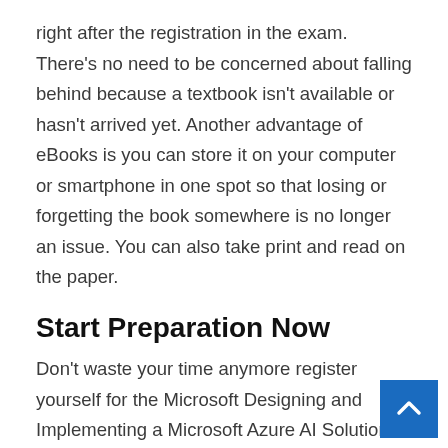right after the registration in the exam. There's no need to be concerned about falling behind because a textbook isn't available or hasn't arrived yet. Another advantage of eBooks is you can store it on your computer or smartphone in one spot so that losing or forgetting the book somewhere is no longer an issue. You can also take print and read on the paper.
Start Preparation Now
Don't waste your time anymore register yourself for the Microsoft Designing and Implementing a Microsoft Azure AI Solution exam for a better future. And with AI-102 dumps prepare yourself for the exam and if you prepare properly, you will